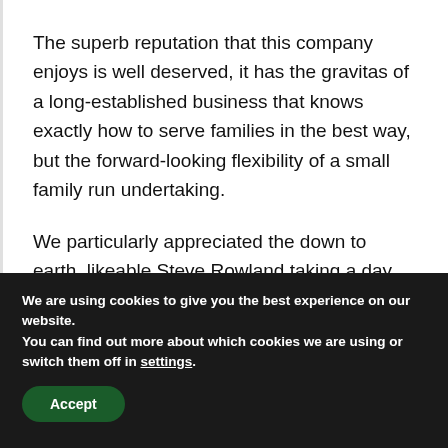The superb reputation that this company enjoys is well deserved, it has the gravitas of a long-established business that knows exactly how to serve families in the best way, but the forward-looking flexibility of a small family run undertaking.
We particularly appreciated the down to earth, likeable Steve Rowland taking a day out of an unbelievably busy diary to drive us round all his branches and meet
We are using cookies to give you the best experience on our website.
You can find out more about which cookies we are using or switch them off in settings.